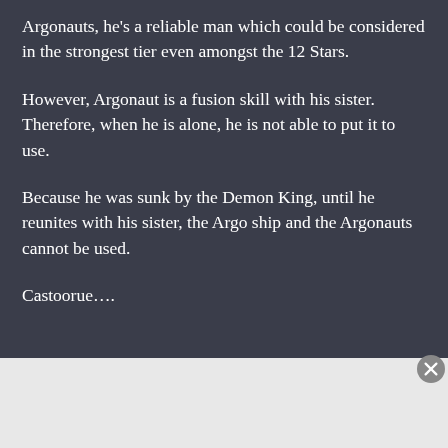Argonauts, he's a reliable man which could be considered in the strongest tier even amongst the 12 Stars.
However, Argonaut is a fusion skill with his sister. Therefore, when he is alone, he is not able to put it to use.
Because he was sunk by the Demon King, until he reunites with his sister, the Argo ship and the Argonauts cannot be used.
Castoorue….
[Figure (infographic): Advertisement banner for Seamless food ordering service, showing pizza image on left, red Seamless logo in center, and ORDER NOW button on right, on dark background.]